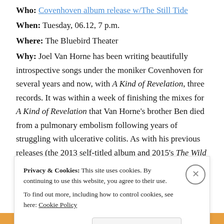Who: Covenhoven album release w/The Still Tide
When: Tuesday, 06.12, 7 p.m.
Where: The Bluebird Theater
Why: Joel Van Horne has been writing beautifully introspective songs under the moniker Covenhoven for several years and now, with A Kind of Revelation, three records. It was within a week of finishing the mixes for A Kind of Revelation that Van Horne's brother Ben died from a pulmonary embolism following years of struggling with ulcerative colitis. As with his previous releases (the 2013 self-titled album and 2015's The Wild and Free), Van Horne immersed himself in a natural
Privacy & Cookies: This site uses cookies. By continuing to use this website, you agree to their use. To find out more, including how to control cookies, see here: Cookie Policy
Close and accept